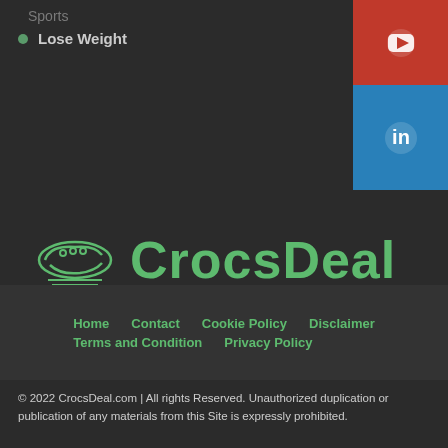Sports
Lose Weight
[Figure (logo): YouTube button (red background with white play icon)]
[Figure (logo): LinkedIn button (blue background with white 'in' icon)]
[Figure (logo): CrocsDeal logo with green croc shoe icon and green text 'CrocsDeal']
Home   Contact   Cookie Policy   Disclaimer   Terms and Condition   Privacy Policy
© 2022 CrocsDeal.com | All rights Reserved. Unauthorized duplication or publication of any materials from this Site is expressly prohibited.